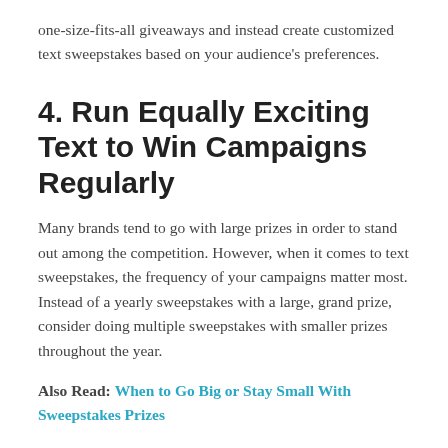one-size-fits-all giveaways and instead create customized text sweepstakes based on your audience's preferences.
4. Run Equally Exciting Text to Win Campaigns Regularly
Many brands tend to go with large prizes in order to stand out among the competition. However, when it comes to text sweepstakes, the frequency of your campaigns matter most. Instead of a yearly sweepstakes with a large, grand prize, consider doing multiple sweepstakes with smaller prizes throughout the year.
Also Read: When to Go Big or Stay Small With Sweepstakes Prizes